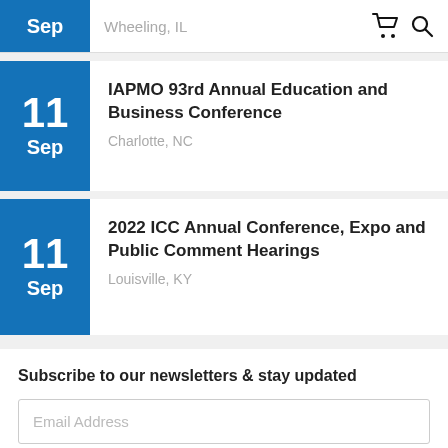Wheeling, IL
11 Sep - IAPMO 93rd Annual Education and Business Conference - Charlotte, NC
11 Sep - 2022 ICC Annual Conference, Expo and Public Comment Hearings - Louisville, KY
Subscribe to our newsletters & stay updated
Email Address